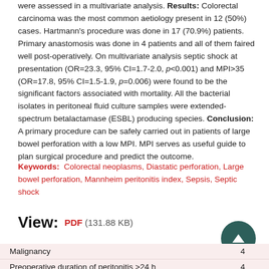were assessed in a multivariate analysis. Results: Colorectal carcinoma was the most common aetiology present in 12 (50%) cases. Hartmann's procedure was done in 17 (70.9%) patients. Primary anastomosis was done in 4 patients and all of them faired well post-operatively. On multivariate analysis septic shock at presentation (OR=23.3, 95% CI=1.7-2.0, p<0.001) and MPI>35 (OR=17.8, 95% CI=1.5-1.9, p=0.006) were found to be the significant factors associated with mortality. All the bacterial isolates in peritoneal fluid culture samples were extended-spectrum betalactamase (ESBL) producing species. Conclusion: A primary procedure can be safely carried out in patients of large bowel perforation with a low MPI. MPI serves as useful guide to plan surgical procedure and predict the outcome.
Keywords: Colorectal neoplasms, Diastatic perforation, Large bowel perforation, Mannheim peritonitis index, Sepsis, Septic shock
View: PDF (131.88 KB)
|  |  |
| --- | --- |
| Malignancy | 4 |
| Preoperative duration of peritonitis >24 h | 4 |